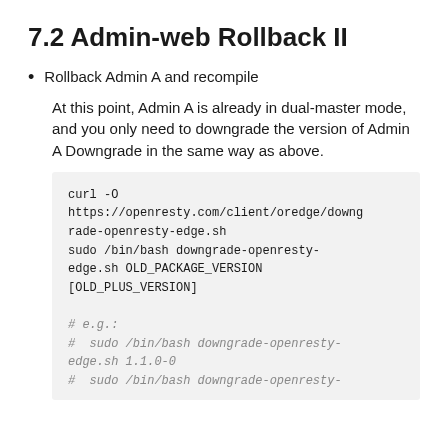7.2 Admin-web Rollback II
Rollback Admin A and recompile
At this point, Admin A is already in dual-master mode, and you only need to downgrade the version of Admin A Downgrade in the same way as above.
curl -O
https://openresty.com/client/oredge/downgrade-openresty-edge.sh
sudo /bin/bash downgrade-openresty-edge.sh OLD_PACKAGE_VERSION [OLD_PLUS_VERSION]

# e.g.:
#  sudo /bin/bash downgrade-openresty-edge.sh 1.1.0-0
#  sudo /bin/bash downgrade-openresty-edge.sh 1.1.0-0 1.19.0.1-0.1